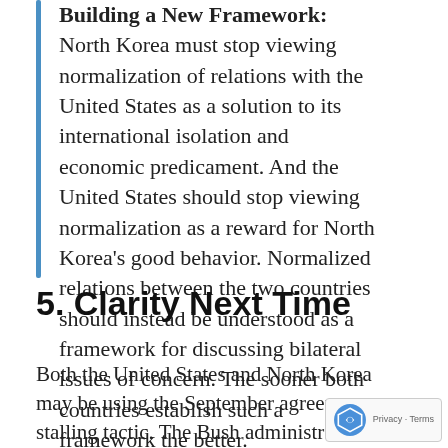Building a New Framework: North Korea must stop viewing normalization of relations with the United States as a solution to its international isolation and economic predicament. And the United States should stop viewing normalization as a reward for North Korea's good behavior. Normalized relations between the two countries should instead be understood as a framework for discussing bilateral issues of concern. The sooner both countries establish such a framework the better.
5. Clarity Next Time
Both the United States and North Korea may be using the September agreement as a stalling tactic. The Bush administration is divided on issues of North Korea and how to proceed...